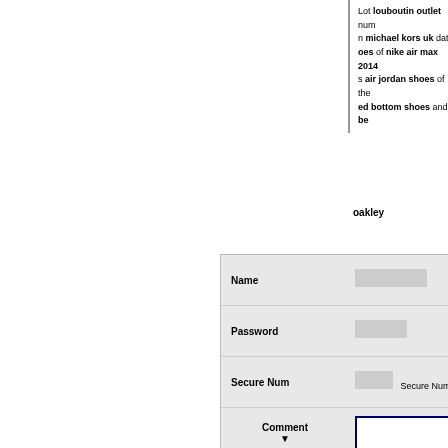Lot louboutin outlet num n michael kors uk date, oes of nike air max 2014 s air jordan shoes of the ed bottom shoes and be
oakley
| Name |  |
| --- | --- |
| Password |  |
| Secure Num | Secure Number 48 |
| Comment ▼ |  |
Reply   Modify   Delete   Recommend
| No. | T |
| --- | --- |